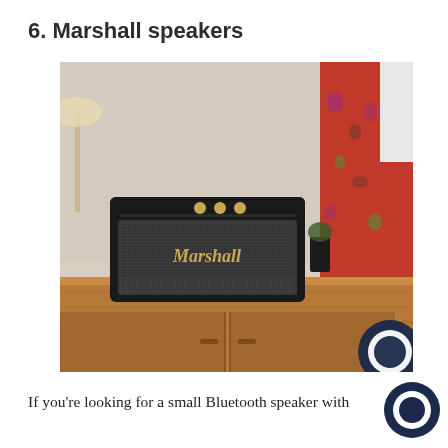6. Marshall speakers
[Figure (photo): A black Marshall Bluetooth speaker with a checkered grille and gold Marshall logo sitting on a wooden sideboard. A person in a red floral outfit stands to the right holding a phone.]
If you’re looking for a small Bluetooth speaker with